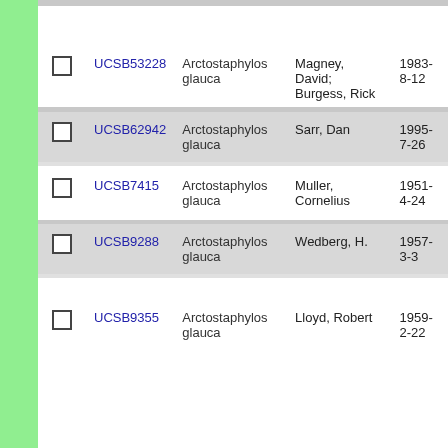|  | ID | Species | Collector | Date |
| --- | --- | --- | --- | --- |
| ☐ | UCSB53228 | Arctostaphylos glauca | Magney, David; Burgess, Rick | 1983-8-12 |
| ☐ | UCSB62942 | Arctostaphylos glauca | Sarr, Dan | 1995-7-26 |
| ☐ | UCSB7415 | Arctostaphylos glauca | Muller, Cornelius | 1951-4-24 |
| ☐ | UCSB9288 | Arctostaphylos glauca | Wedberg, H. | 1957-3-3 |
| ☐ | UCSB9355 | Arctostaphylos glauca | Lloyd, Robert | 1959-2-22 |